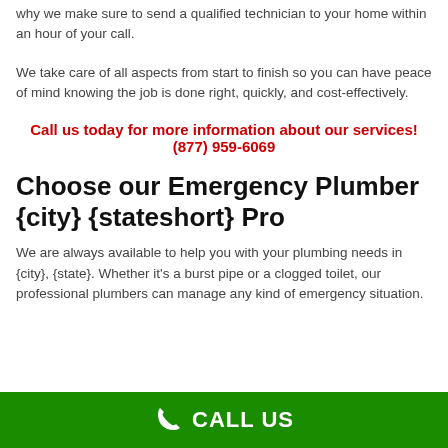why we make sure to send a qualified technician to your home within an hour of your call.
We take care of all aspects from start to finish so you can have peace of mind knowing the job is done right, quickly, and cost-effectively.
Call us today for more information about our services! (877) 959-6069
Choose our Emergency Plumber {city} {stateshort} Pro
We are always available to help you with your plumbing needs in {city}, {state}. Whether it's a burst pipe or a clogged toilet, our professional plumbers can manage any kind of emergency situation.
CALL US